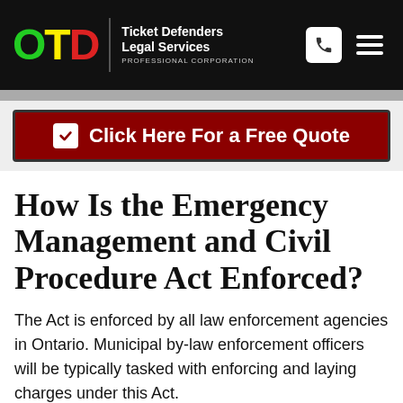OTD Ticket Defenders Legal Services PROFESSIONAL CORPORATION
[Figure (logo): OTD logo with O in green, T in yellow, D in red, followed by 'Ticket Defenders Legal Services PROFESSIONAL CORPORATION' in white on black background, with phone icon and hamburger menu icons on the right]
Click Here For a Free Quote
How Is the Emergency Management and Civil Procedure Act Enforced?
The Act is enforced by all law enforcement agencies in Ontario. Municipal by-law enforcement officers will be typically tasked with enforcing and laying charges under this Act.